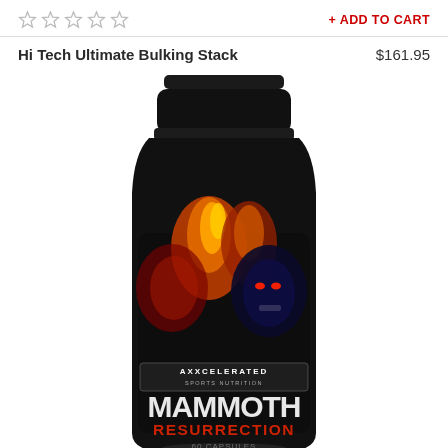[Figure (other): Five empty star rating icons in a row]
+ ADD TO CART
Hi Tech Ultimate Bulking Stack
$161.95
[Figure (photo): Black supplement bottle labeled 'AXXCELERATED SPORTS NUTRITION MAMMOTH RESURRECTION 60 CAPSULES' with a fierce gorilla/beast graphic with fire and dark imagery on the label]